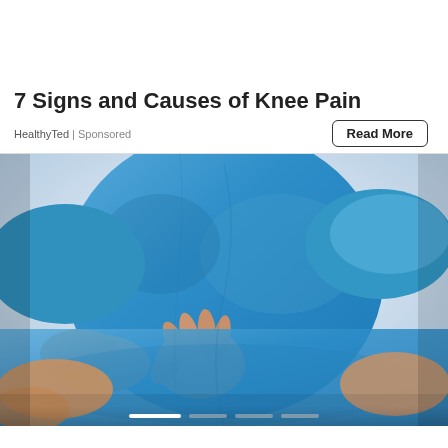7 Signs and Causes of Knee Pain
HealthyTed | Sponsored
[Figure (photo): Person in blue shirt touching/holding their back or midsection area with both hands, suggesting pain or discomfort. White background, studio-style photo.]